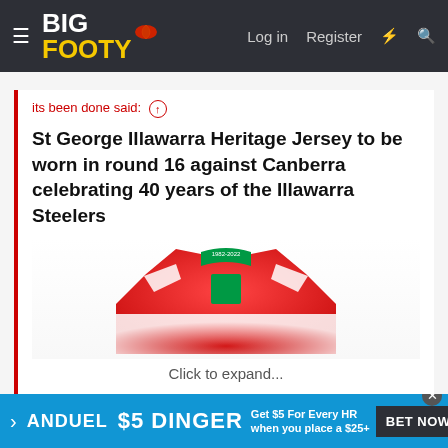BigFooty — Log in  Register
its been done said:
St George Illawarra Heritage Jersey to be worn in round 16 against Canberra celebrating 40 years of the Illawarra Steelers
[Figure (photo): A red St George Illawarra Heritage Jersey with white stripes, partially shown, with text 'Click to expand...' below it.]
The Steelers white stripes, which stop this just being a red shirt with sponsors, is sitting at a miserable 40% under the armpit.
[Figure (infographic): FanDuel advertisement banner: '$5 DINGER — Get $5 For Every HR when you place a $25+' with BET NOW button]